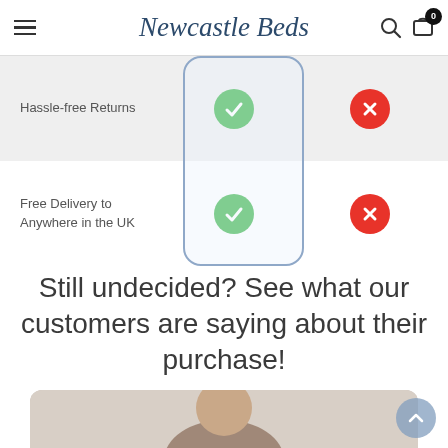Newcastle Beds
[Figure (infographic): Comparison table showing two rows: 'Hassle-free Returns' and 'Free Delivery to Anywhere in the UK'. The center column (Newcastle Beds, highlighted with rounded blue border) shows green checkmark icons for both rows. The right column shows red X icons for both rows.]
Still undecided? See what our customers are saying about their purchase!
[Figure (photo): Photo of a person with glasses sitting on a dark sofa, partially visible at the bottom of the page.]